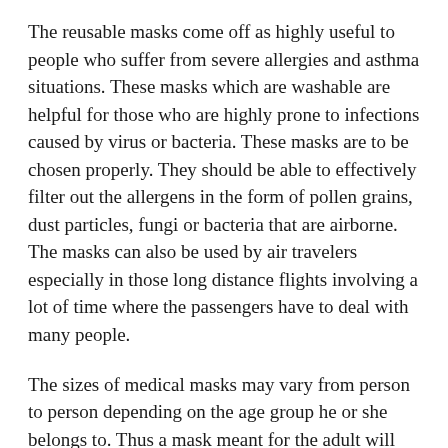The reusable masks come off as highly useful to people who suffer from severe allergies and asthma situations. These masks which are washable are helpful for those who are highly prone to infections caused by virus or bacteria. These masks are to be chosen properly. They should be able to effectively filter out the allergens in the form of pollen grains, dust particles, fungi or bacteria that are airborne. The masks can also be used by air travelers especially in those long distance flights involving a lot of time where the passengers have to deal with many people.
The sizes of medical masks may vary from person to person depending on the age group he or she belongs to. Thus a mask meant for the adult will not properly fit a small kid. Hence you need to purchase small sized masks for children. The medical professionals especially